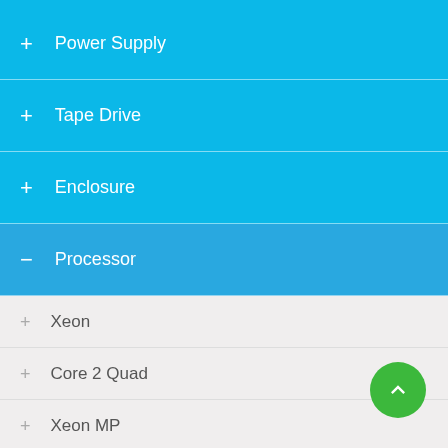+ Power Supply
+ Tape Drive
+ Enclosure
- Processor
+ Xeon
+ Core 2 Quad
+ Xeon MP
+ Core 2 Duo
+ Pentium D
+ Pentium Dual Core
+ Celeron
+ Phenom Dual Core
+ Athlon